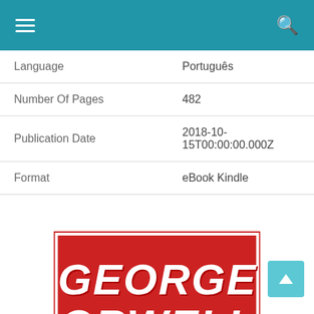Navigation bar with hamburger menu and search icon
| Language | Português |
| Number Of Pages | 482 |
| Publication Date | 2018-10-15T00:00:00.000Z |
| Format | eBook Kindle |
[Figure (illustration): George Orwell book cover — red background with large white distressed text 'GEORGE ORWELL' and a drawing of a television set with a large eye on its screen, with blue lightning bolt rays emanating from the sides]